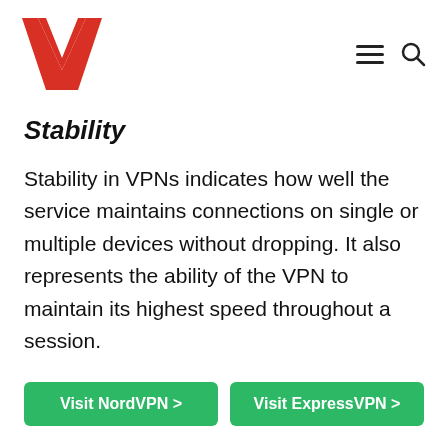W [logo] with hamburger menu and search icon
Stability
Stability in VPNs indicates how well the service maintains connections on single or multiple devices without dropping. It also represents the ability of the VPN to maintain its highest speed throughout a session.
Visit NordVPN >
Visit ExpressVPN >